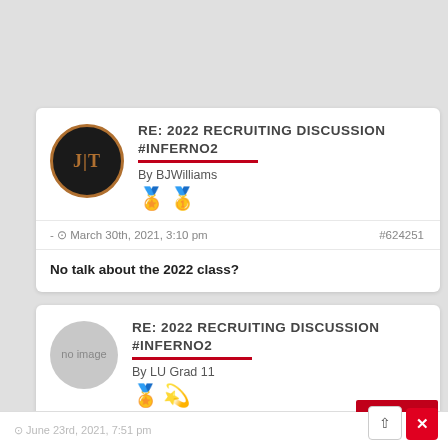RE: 2022 RECRUITING DISCUSSION #INFERNO2
By BJWilliams
- March 30th, 2021, 3:10 pm   #624251
No talk about the 2022 class?
RE: 2022 RECRUITING DISCUSSION #INFERNO2
By LU Grad 11
June 23rd, 2021, 7:51 pm